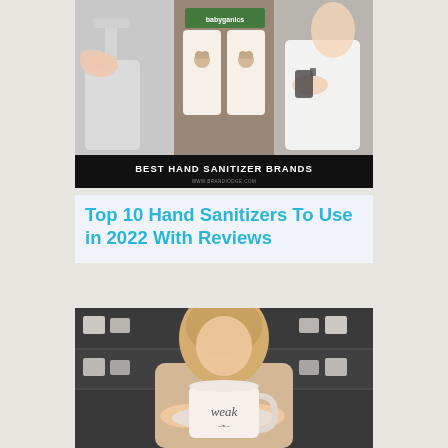[Figure (photo): Composite image showing hand sanitizer products: a pump bottle on the left, Babyganics branded sanitizer bottles in the center, and a person spraying sanitizer on the right. Dark background with white text reading 'BEST HAND SANITIZER BRANDS' and website URL at bottom.]
Top 10 Hand Sanitizers To Use in 2022 With Reviews
[Figure (photo): A blonde woman in a beige sweater holding a white mug with the word 'weak' written on it, displayed on a saucer, in a cafe setting with shelves of cups in the background.]